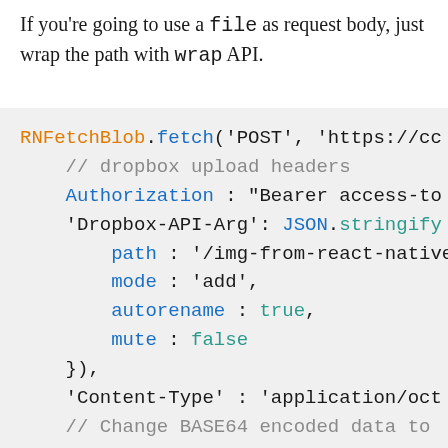If you're going to use a `file` as request body, just wrap the path with wrap API.
[Figure (screenshot): Code block showing RNFetchBlob.fetch POST call with Dropbox upload headers including Authorization, Dropbox-API-Arg with path/mode/autorename/mute, Content-Type, comments about BASE64 and wrapping file path, and RNFetchBlob.wrap call.]